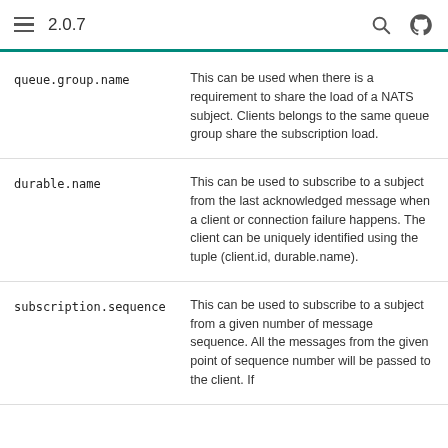2.0.7
| Property | Description |
| --- | --- |
| queue.group.name | This can be used when there is a requirement to share the load of a NATS subject. Clients belongs to the same queue group share the subscription load. |
| durable.name | This can be used to subscribe to a subject from the last acknowledged message when a client or connection failure happens. The client can be uniquely identified using the tuple (client.id, durable.name). |
| subscription.sequence | This can be used to subscribe to a subject from a given number of message sequence. All the messages from the given point of sequence number will be passed to the client. If |